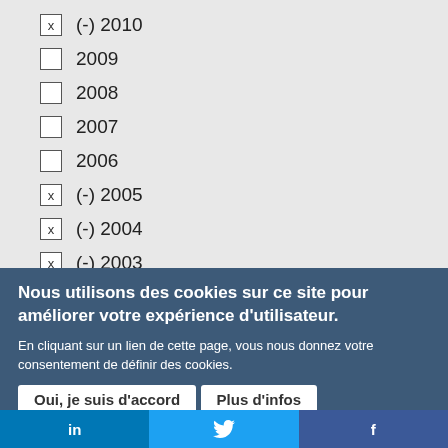x (-) 2010
2009
2008
2007
2006
x (-) 2005
x (-) 2004
x (-) 2003
x (-) 2002
Nous utilisons des cookies sur ce site pour améliorer votre expérience d'utilisateur.
En cliquant sur un lien de cette page, vous nous donnez votre consentement de définir des cookies.
Oui, je suis d'accord   Plus d'infos
in  [Twitter bird]  f